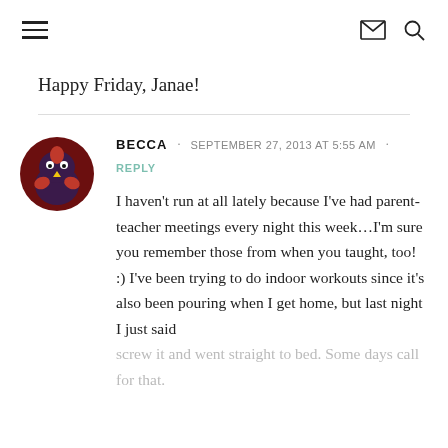≡  ✉ 🔍
Happy Friday, Janae!
BECCA · SEPTEMBER 27, 2013 AT 5:55 AM · REPLY

I haven't run at all lately because I've had parent-teacher meetings every night this week…I'm sure you remember those from when you taught, too! :) I've been trying to do indoor workouts since it's also been pouring when I get home, but last night I just said screw it and went straight to bed. Some days call for that.